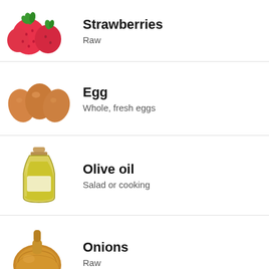Strawberries
Raw
Egg
Whole, fresh eggs
Olive oil
Salad or cooking
Onions
Raw
Try our free Diet Generator
[collapse]
I want to eat 1500 calories in 4 meals.
Generate